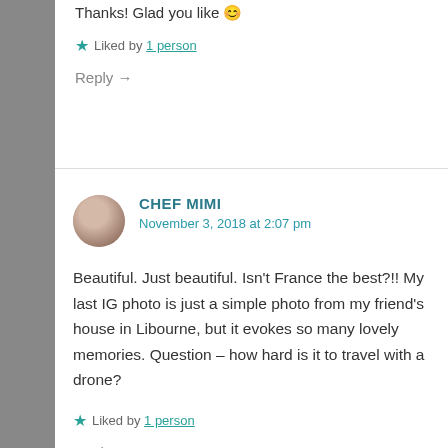Thanks! Glad you like 😊
★ Liked by 1 person
Reply →
CHEF MIMI
November 3, 2018 at 2:07 pm
Beautiful. Just beautiful. Isn't France the best?!! My last IG photo is just a simple photo from my friend's house in Libourne, but it evokes so many lovely memories. Question – how hard is it to travel with a drone?
★ Liked by 1 person
Reply →